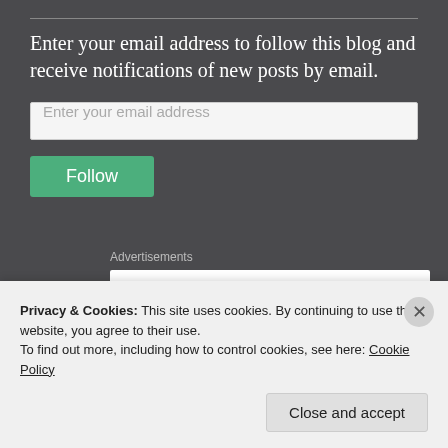Enter your email address to follow this blog and receive notifications of new posts by email.
Enter your email address
Follow
Advertisements
[Figure (screenshot): Advertisement with bold dark text reading 'The first rule of Startup School?' on a white background]
Privacy & Cookies: This site uses cookies. By continuing to use this website, you agree to their use.
To find out more, including how to control cookies, see here: Cookie Policy
Close and accept